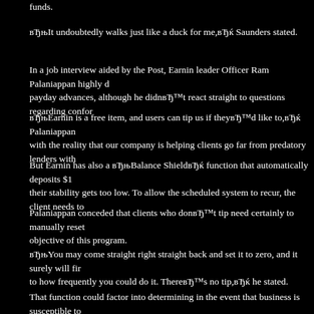funds.
вЂњIt undoubtedly walks just like a duck for me,вЂќ Saunders stated.
In a job interview aided by the Post, Earnin leader Officer Ram Palaniappan highly d payday advances, although he didnвЂ™t react straight to questions regarding confor
вЂњEarnin is a free item, and users can tip us if theyвЂ™d like to,вЂќ Palaniappan with the reality that our company is helping clients go far from predatory lenders with
But Earnin has also a вЂњBalance ShieldвЂќ function that automatically deposits $1 their stability gets too low. To allow the scheduled system to recur, the client needs to
Palaniappan conceded that clients who donвЂ™t tip need certainly to manually reset objective of this program.
вЂњYou may come straight right straight back and set it to zero, and it surely will fir to how frequently you could do it. ThereвЂ™s no tip,вЂќ he stated.
That function could factor into determining in the event that business is susceptible to to Saunders.
вЂњIf Earnin limits what folks can borrow she said if they donвЂ™t pay enough in tips are a finance charge.
Before Earnin, Palaniappan ended up being president of RushCard, a prepaid debit b Russell Simmons, which charged users $9.95 30 days to carry their money and $2.50